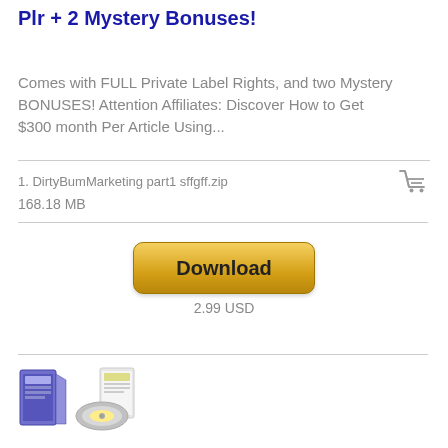Plr + 2 Mystery Bonuses!
Comes with FULL Private Label Rights, and two Mystery BONUSES! Attention Affiliates: Discover How to Get $300 month Per Article Using...
1. DirtyBumMarketing part1 sffgff.zip
168.18 MB
[Figure (other): Download button with gold/yellow gradient styling]
2.99 USD
[Figure (photo): Two product box thumbnail images showing digital product packages]